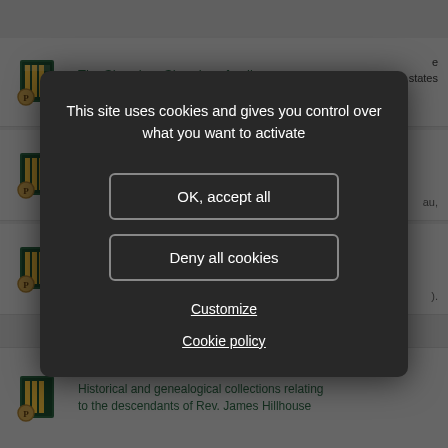The Sharples--Sharpless family
...Bessie Colleen Grecson, daughter of Henry David
states
This site uses cookies and gives you control over what you want to activate
OK, accept all
Deny all cookies
Customize
Cookie policy
Historical and genealogical collections relating to the descendants of Rev. James Hillhouse